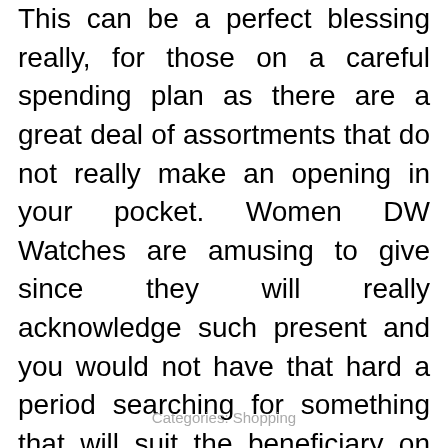This can be a perfect blessing really, for those on a careful spending plan as there are a great deal of assortments that do not really make an opening in your pocket. Women DW Watches are amusing to give since they will really acknowledge such present and you would not have that hard a period searching for something that will suit the beneficiary on account of the wide exhibit of decisions and structures.
Categories: Shopping